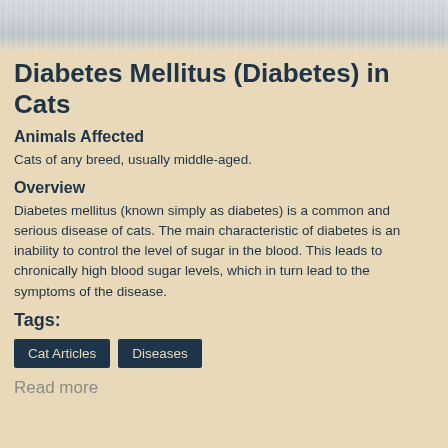[Figure (photo): Cat fur texture photo strip at the top of the page]
Diabetes Mellitus (Diabetes) in Cats
Animals Affected
Cats of any breed, usually middle-aged.
Overview
Diabetes mellitus (known simply as diabetes) is a common and serious disease of cats. The main characteristic of diabetes is an inability to control the level of sugar in the blood. This leads to chronically high blood sugar levels, which in turn lead to the symptoms of the disease.
Tags:
Cat Articles
Diseases
Read more